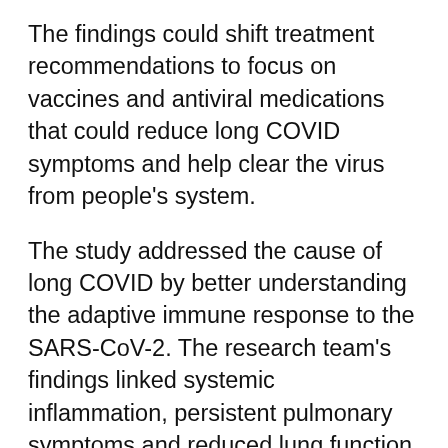The findings could shift treatment recommendations to focus on vaccines and antiviral medications that could reduce long COVID symptoms and help clear the virus from people's system.
The study addressed the cause of long COVID by better understanding the adaptive immune response to the SARS-CoV-2. The research team's findings linked systemic inflammation, persistent pulmonary symptoms and reduced lung function to the presence of high numbers of SARS-CoV-2 specific T cells. During the primary infection, these virus-specific T cells